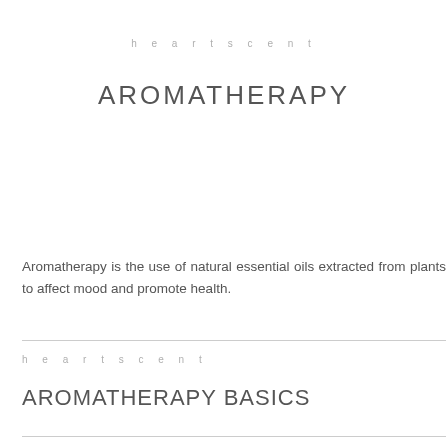heartscent
AROMATHERAPY
Aromatherapy is the use of natural essential oils extracted from plants to affect mood and promote health.
heartscent
AROMATHERAPY BASICS